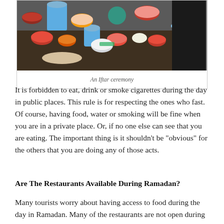[Figure (photo): A table covered with food items, bowls, containers, and drinks prepared for an Iftar ceremony, with people visible in the background.]
An Iftar ceremony
It is forbidden to eat, drink or smoke cigarettes during the day in public places. This rule is for respecting the ones who fast. Of course, having food, water or smoking will be fine when you are in a private place. Or, if no one else can see that you are eating. The important thing is it shouldn’t be “obvious” for the others that you are doing any of those acts.
Are The Restaurants Available During Ramadan?
Many tourists worry about having access to food during the day in Ramadan. Many of the restaurants are not open during the day in Ramadan. But, they